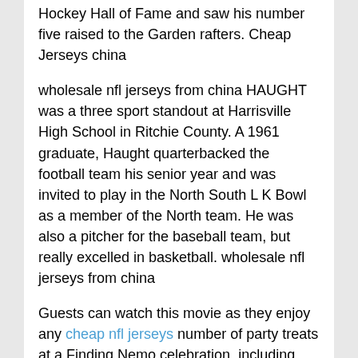Hockey Hall of Fame and saw his number five raised to the Garden rafters. Cheap Jerseys china
wholesale nfl jerseys from china HAUGHT was a three sport standout at Harrisville High School in Ritchie County. A 1961 graduate, Haught quarterbacked the football team his senior year and was invited to play in the North South L K Bowl as a member of the North team. He was also a pitcher for the baseball team, but really excelled in basketball. wholesale nfl jerseys from china
Guests can watch this movie as they enjoy any cheap nfl jerseys number of party treats at a Finding Nemo celebration, including cookies and cupcakes that are shaped and designed in the likeness of Nemo and friends; or perhaps a full sized cake featuring several of these characters, captured in a delicious butter cream portrait on the top. Tropical snack choices such as pineapple upside cake would make other good choices at this festivity, as would a punch bowl brimming with whimsical ice cubes and aqua colored punch. And of course, goldfish crackers and bottled water are definite musts!